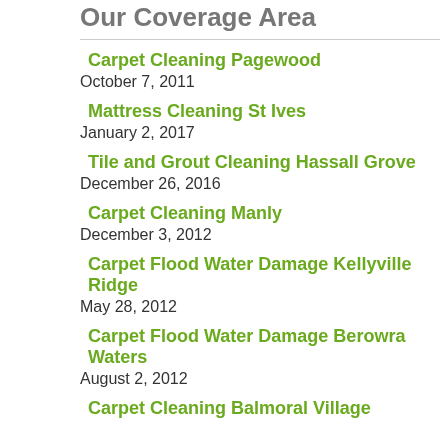Our Coverage Area
Carpet Cleaning Pagewood
October 7, 2011
Mattress Cleaning St Ives
January 2, 2017
Tile and Grout Cleaning Hassall Grove
December 26, 2016
Carpet Cleaning Manly
December 3, 2012
Carpet Flood Water Damage Kellyville Ridge
May 28, 2012
Carpet Flood Water Damage Berowra Waters
August 2, 2012
Carpet Cleaning Balmoral Village